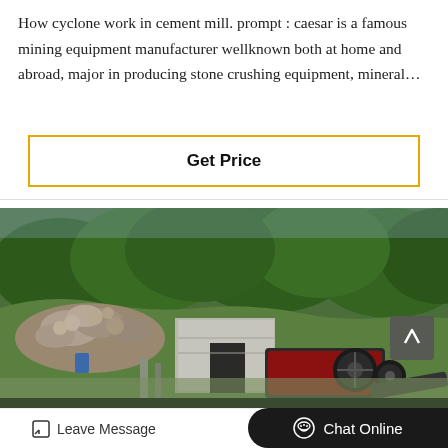How cyclone work in cement mill. prompt : caesar is a famous mining equipment manufacturer wellknown both at home and abroad, major in producing stone crushing equipment, mineral…
[Figure (other): Get Price button with gold/yellow border on white background]
[Figure (photo): Aerial view of a mining/quarrying site showing a large pile of rocks/boulders on the left, a concrete structure in the middle, heavy industrial crushing equipment (jaw crusher) in red and black, surrounded by green trees and vegetation.]
Leave Message
Chat Online